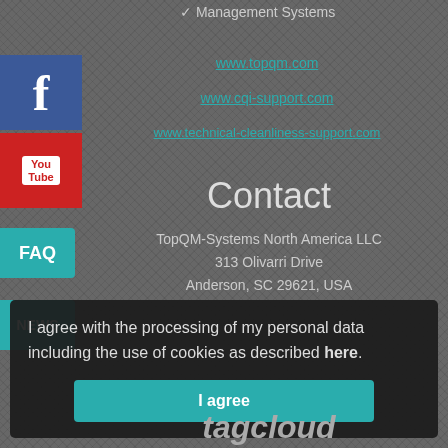✓ Management Systems
[Figure (logo): Facebook logo icon (blue background with white 'f')]
[Figure (logo): YouTube logo icon (red background with 'You Tube' text)]
[Figure (logo): FAQ button (teal background)]
[Figure (logo): NEWS button (teal background)]
www.topqm.com
www.cqi-support.com
www.technical-cleanliness-support.com
Contact
TopQM-Systems North America LLC
313 Olivarri Drive
Anderson, SC 29621, USA
I agree with the processing of my personal data including the use of cookies as described here.
I agree
tagcloud